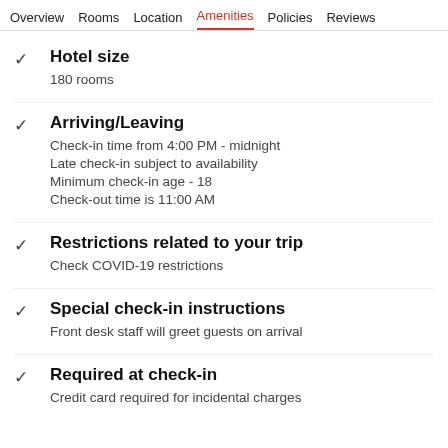Overview  Rooms  Location  Amenities  Policies  Reviews
Hotel size
180 rooms
Arriving/Leaving
Check-in time from 4:00 PM - midnight
Late check-in subject to availability
Minimum check-in age - 18
Check-out time is 11:00 AM
Restrictions related to your trip
Check COVID-19 restrictions
Special check-in instructions
Front desk staff will greet guests on arrival
Required at check-in
Credit card required for incidental charges